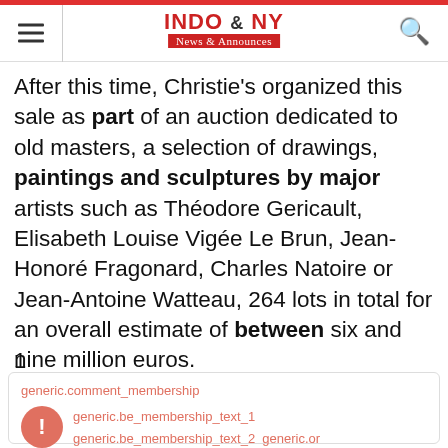INDO & NY News & Announces
After this time, Christie's organized this sale as part of an auction dedicated to old masters, a selection of drawings, paintings and sculptures by major artists such as Théodore Gericault, Elisabeth Louise Vigée Le Brun, Jean-Honoré Fragonard, Charles Natoire or Jean-Antoine Watteau, 264 lots in total for an overall estimate of between six and nine million euros.
1
generic.comment_membership generic.be_membership_text_1 generic.be_membership_text_2 generic.or generic.be_membership_text_3.